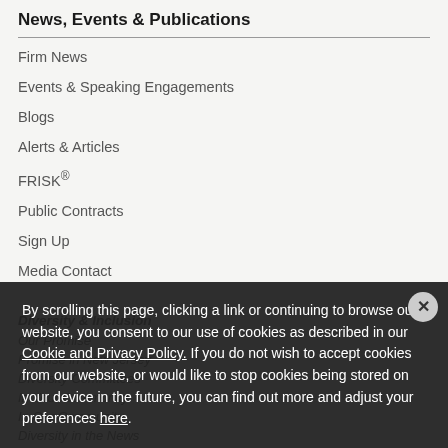News, Events & Publications
Firm News
Events & Speaking Engagements
Blogs
Alerts & Articles
FRISK®
Public Contracts
Sign Up
Media Contact
Diversity & Inclusion
Our Promise
Promise in New Jersey
Diversity Committees
In Your Community
In Our Community
Diversity in the News
By scrolling this page, clicking a link or continuing to browse our website, you consent to our use of cookies as described in our Cookie and Privacy Policy. If you do not wish to accept cookies from our website, or would like to stop cookies being stored on your device in the future, you can find out more and adjust your preferences here.